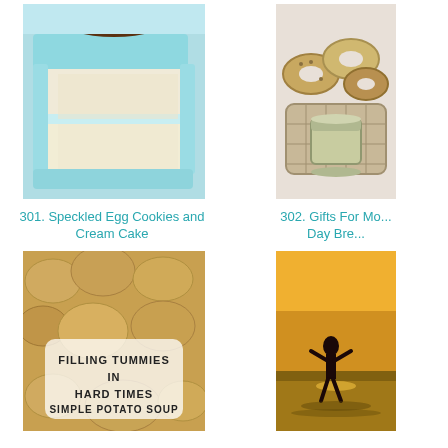[Figure (photo): Slice of blue frosted layer cake, Speckled Egg Cookies and Cream Cake]
301. Speckled Egg Cookies and Cream Cake
[Figure (photo): Basket with bagels and a jar, Gifts For Mom Day Breakfast]
302. Gifts For Mo... Day Bre...
[Figure (photo): Potatoes with overlay text: FILLING TUMMIES IN HARD TIMES SIMPLE POTATO SOUP]
[Figure (photo): Silhouette of person at sunset over water]